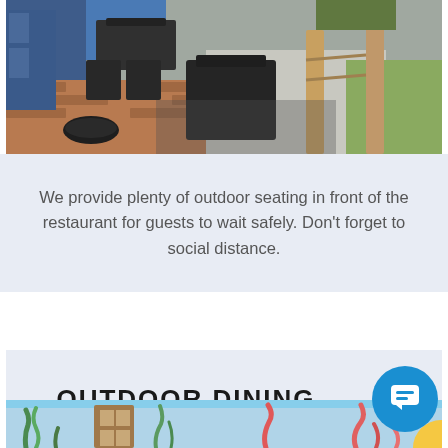[Figure (photo): Outdoor patio area of a restaurant with black metal chairs and tables on brick and concrete flooring, viewed from above at an angle. A blue tarp is visible in the background along with wooden posts and a grassy area.]
We provide plenty of outdoor seating in front of the restaurant for guests to wait safely. Don't forget to social distance.
OUTDOOR DINING
[Figure (photo): Colorful mural on a light blue wall or fence depicting underwater sea life including seaweed and coral, with a door visible.]